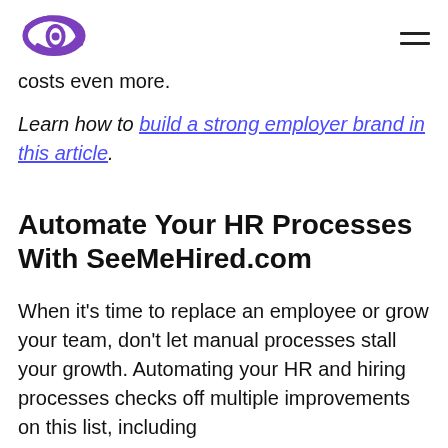[Figure (logo): SeeMeHired.com purple eye-shaped swirl logo in top left header]
costs even more.
Learn how to build a strong employer brand in this article.
Automate Your HR Processes With SeeMeHired.com
When it's time to replace an employee or grow your team, don't let manual processes stall your growth. Automating your HR and hiring processes checks off multiple improvements on this list, including